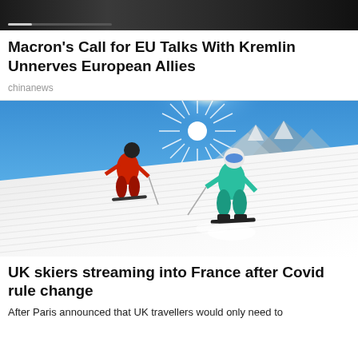[Figure (screenshot): Dark top banner image, appears to be a video or article image with a progress bar at bottom left]
Macron's Call for EU Talks With Kremlin Unnerves European Allies
chinanews
[Figure (photo): Two skiers descending a sunny snow slope with bright sunburst and blue sky in background and snowy mountains behind]
UK skiers streaming into France after Covid rule change
After Paris announced that UK travellers would only need to